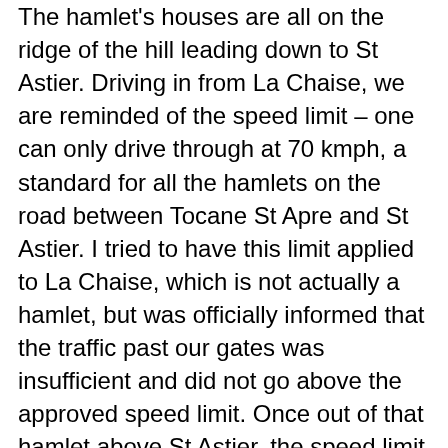The hamlet's houses are all on the ridge of the hill leading down to St Astier. Driving in from La Chaise, we are reminded of the speed limit – one can only drive through at 70 kmph, a standard for all the hamlets on the road between Tocane St Apre and St Astier. I tried to have this limit applied to La Chaise, which is not actually a hamlet, but was officially informed that the traffic past our gates was insufficient and did not go above the approved speed limit. Once out of that hamlet above St Astier, the speed limit is lifted and those who wish, can take two hair pin bends at more than 70 kmph. Fortunately local residents, even when not totally sober, are reasonably sensible. I darkly suspect the blanket, one size fits all, Napoleon thought of it first, administrative regulations here,for example, speed through hamlets should be restricted to 70 kmph, once the hamlet is passed, back to the overall road speed